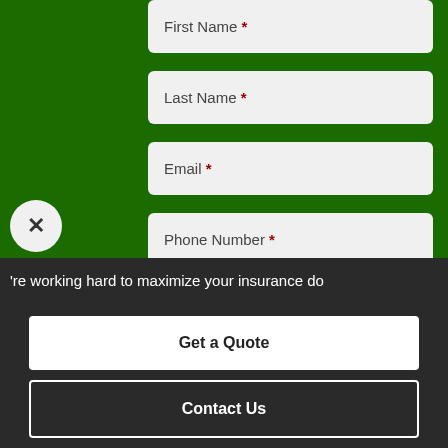First Name *
Last Name *
Email *
Phone Number *
How can we help? *
're working hard to maximize your insurance do
Get a Quote
Contact Us